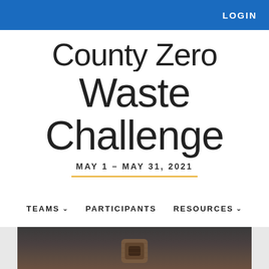LOGIN
County Zero Waste Challenge
MAY 1 – MAY 31, 2021
TEAMS   PARTICIPANTS   RESOURCES
[Figure (photo): Dark photograph showing a wooden object against a dark gray background, partially cropped at bottom of page]